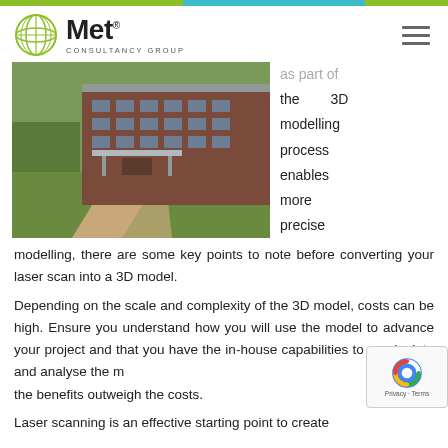[Figure (logo): Met Consultancy Group logo with green globe icon]
[Figure (photo): 3D architectural rendering of a brick building with green lawn and canopy entrance]
as part of the 3D modelling process enables more precise modelling, there are some key points to note before converting your laser scan into a 3D model.
Depending on the scale and complexity of the 3D model, costs can be high. Ensure you understand how you will use the model to advance your project and that you have the in-house capabilities to manipulate and analyse the model so the benefits outweigh the costs.
Laser scanning is an effective starting point to create